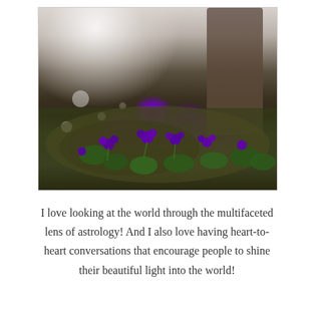[Figure (photo): Close-up photograph of purple violet flowers growing on a mossy rock or log at ground level, with blurred tree trunks and bright bokeh light in the background. The flowers are a vivid purple color with dark green foliage.]
I love looking at the world through the multifaceted lens of astrology! And I also love having heart-to-heart conversations that encourage people to shine their beautiful light into the world!